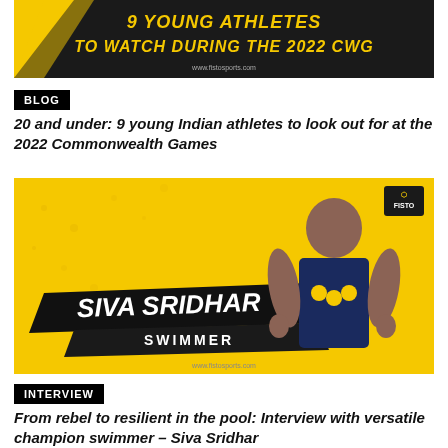[Figure (illustration): Yellow and black banner with bold yellow italic text reading '9 YOUNG ATHLETES TO WATCH DURING THE 2022 CWG' with www.fistosports.com watermark and black triangular design element on left]
BLOG
20 and under: 9 young Indian athletes to look out for at the 2022 Commonwealth Games
[Figure (photo): Yellow background sports promotional image featuring swimmer Siva Sridhar holding medals, with bold white italic text 'SIVA SRIDHAR' and black banner reading 'SWIMMER'. FISTO logo in top right corner. www.fistosports.com watermark at bottom.]
INTERVIEW
From rebel to resilient in the pool: Interview with versatile champion swimmer – Siva Sridhar